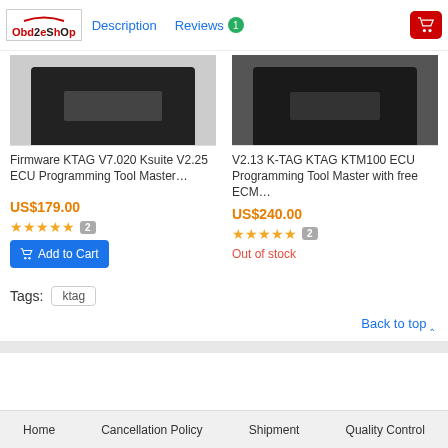OBD2eShOp | Description | Reviews 1
[Figure (screenshot): Product image of Firmware KTAG device (black hardware device)]
Firmware KTAG V7.020 Ksuite V2.25 ECU Programming Tool Master…
US$179.00
★★★★★ 2
Add to Cart
[Figure (screenshot): Product image of V2.13 K-TAG KTAG KTM100 device (black hardware device)]
V2.13 K-TAG KTAG KTM100 ECU Programming Tool Master with free ECM…
US$240.00
★★★★★ 2
Out of stock
Tags: ktag
Back to top ▲
Home | Cancellation Policy | Shipment | Quality Control